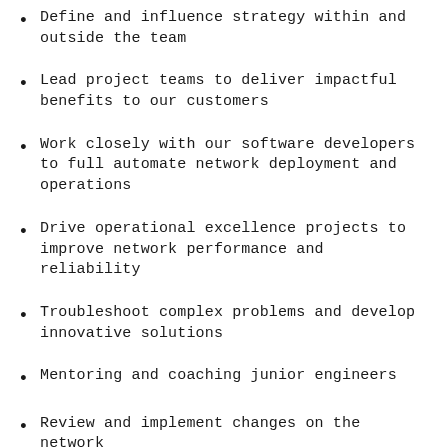Define and influence strategy within and outside the team
Lead project teams to deliver impactful benefits to our customers
Work closely with our software developers to full automate network deployment and operations
Drive operational excellence projects to improve network performance and reliability
Troubleshoot complex problems and develop innovative solutions
Mentoring and coaching junior engineers
Review and implement changes on the network